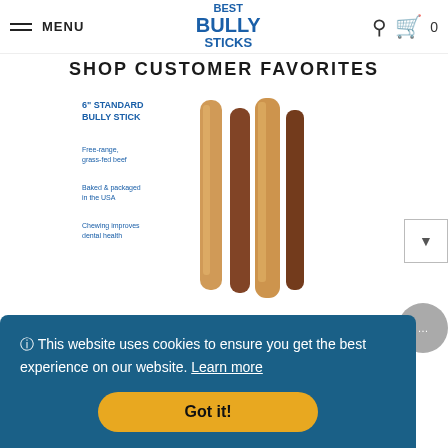MENU | BEST BULLY STICKS | Search | Cart 0
SHOP CUSTOMER FAVORITES
[Figure (photo): Product photo of 6-Inch Standard Bully Stick dog treats with label text: '6" STANDARD BULLY STICK', 'Free-range, grass-fed beef', 'Baked & packaged in the USA', 'Chewing improves dental health']
6-Inch Standard Bully Stick
$17.49
🛈 This website uses cookies to ensure you get the best experience on our website. Learn more
Got it!